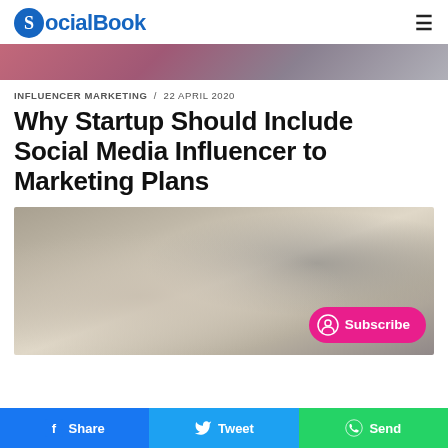SocialBook
[Figure (photo): Blurred banner image with pink/purple and grey tones]
INFLUENCER MARKETING / 22 APRIL 2020
Why Startup Should Include Social Media Influencer to Marketing Plans
[Figure (photo): Blurred background photo, beige/grey tones. Subscribe button overlay.]
Share  Tweet  Send